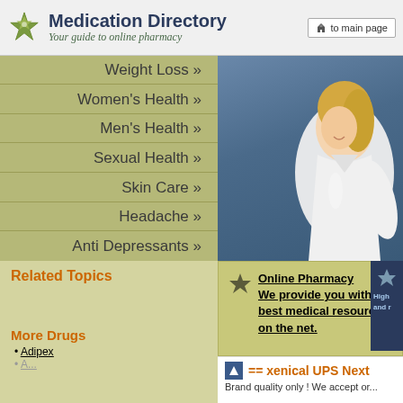Medication Directory
Your guide to online pharmacy
Weight Loss »
Women's Health »
Men's Health »
Sexual Health »
Skin Care »
Headache »
Anti Depressants »
[Figure (photo): Female nurse/pharmacist in white coat against blue background]
Related Topics
More Drugs
Adipex
Online Pharmacy
We provide you with the best medical resources on the net.
== xenical UPS Next
Brand quality only ! We accept or...